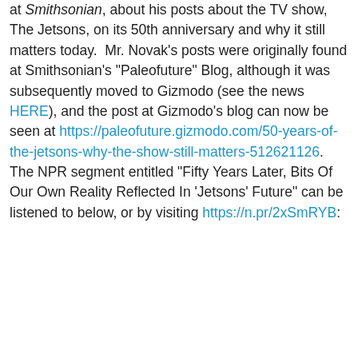at Smithsonian, about his posts about the TV show, The Jetsons, on its 50th anniversary and why it still matters today.  Mr. Novak's posts were originally found at Smithsonian's "Paleofuture" Blog, although it was subsequently moved to Gizmodo (see the news HERE), and the post at Gizmodo's blog can now be seen at https://paleofuture.gizmodo.com/50-years-of-the-jetsons-why-the-show-still-matters-512621126.  The NPR segment entitled "Fifty Years Later, Bits Of Our Own Reality Reflected In 'Jetsons' Future" can be listened to below, or by visiting https://n.pr/2xSmRYB: